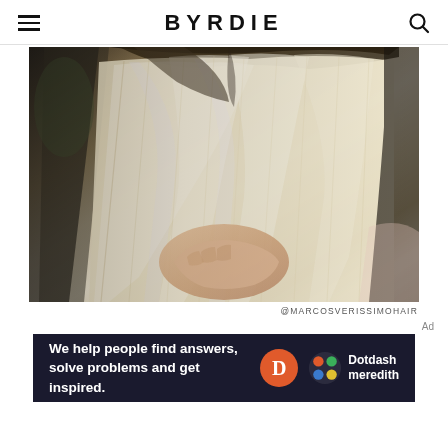BYRDIE
[Figure (photo): Close-up back view of a person with platinum blonde hair being held up, showing bleached roots and very pale blonde lengths, with a hand visible at the nape of the neck.]
@MARCOSVERISSIMOHAIR
[Figure (other): Dotdash Meredith advertisement banner with text 'We help people find answers, solve problems and get inspired.' with D logo and Dotdash meredith colorful logo on dark navy background.]